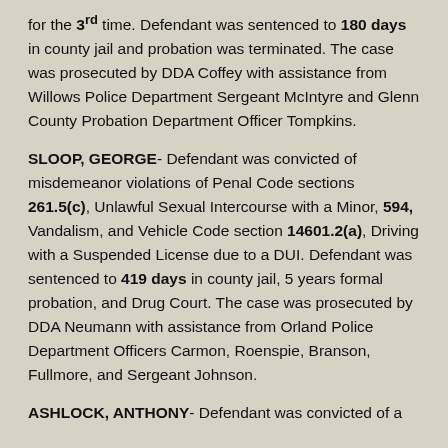for the 3rd time. Defendant was sentenced to 180 days in county jail and probation was terminated. The case was prosecuted by DDA Coffey with assistance from Willows Police Department Sergeant McIntyre and Glenn County Probation Department Officer Tompkins.
SLOOP, GEORGE- Defendant was convicted of misdemeanor violations of Penal Code sections 261.5(c), Unlawful Sexual Intercourse with a Minor, 594, Vandalism, and Vehicle Code section 14601.2(a), Driving with a Suspended License due to a DUI. Defendant was sentenced to 419 days in county jail, 5 years formal probation, and Drug Court. The case was prosecuted by DDA Neumann with assistance from Orland Police Department Officers Carmon, Roenspie, Branson, Fullmore, and Sergeant Johnson.
ASHLOCK, ANTHONY- Defendant was convicted of a